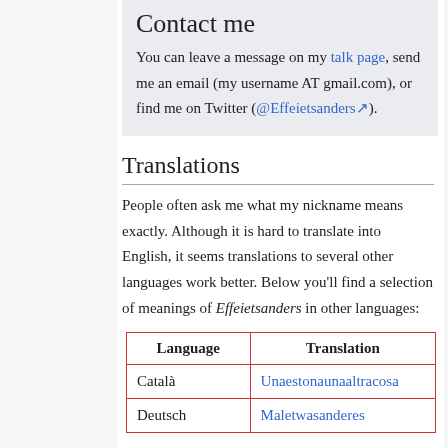Contact me
You can leave a message on my talk page, send me an email (my username AT gmail.com), or find me on Twitter (@Effeietsanders).
Translations
People often ask me what my nickname means exactly. Although it is hard to translate into English, it seems translations to several other languages work better. Below you'll find a selection of meanings of Effeietsanders in other languages:
| Language | Translation |
| --- | --- |
| Català | Unaestonaunaaltracosa |
| Deutsch | Maletwasanderes |